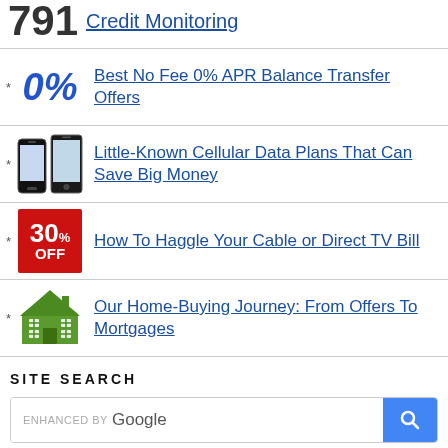791 Credit Monitoring
Best No Fee 0% APR Balance Transfer Offers
Little-Known Cellular Data Plans That Can Save Big Money
How To Haggle Your Cable or Direct TV Bill
Our Home-Buying Journey: From Offers To Mortgages
SITE SEARCH
[Figure (screenshot): Enhanced by Google search bar with blue search button]